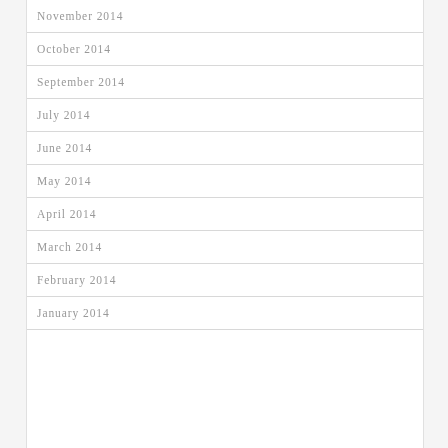November 2014
October 2014
September 2014
July 2014
June 2014
May 2014
April 2014
March 2014
February 2014
January 2014